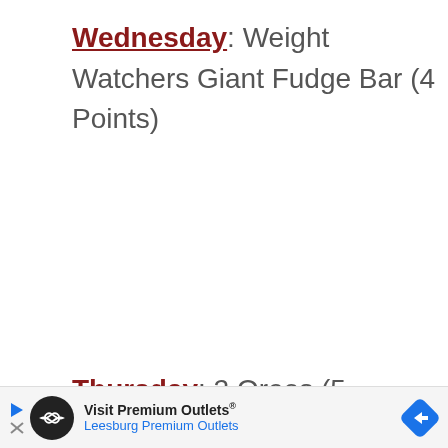Wednesday: Weight Watchers Giant Fudge Bar (4 Points)
Thursday: 2 Oreos (5 Points), Apple
[Figure (other): Advertisement banner for Visit Premium Outlets - Leesburg Premium Outlets with logo and navigation arrow icon]